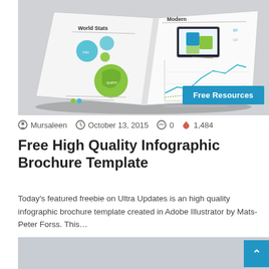[Figure (photo): Open infographic brochure showing world stats and modern data pages with charts, globe graphic, and puzzle piece illustration, with 'Free Resources' button overlay]
Mursaleen   October 13, 2015   0   1,484
Free High Quality Infographic Brochure Template
Today's featured freebie on Ultra Updates is an high quality infographic brochure template created in Adobe Illustrator by Mats-Peter Forss. This…
[Figure (photo): Second article image placeholder (grey/light blue background)]